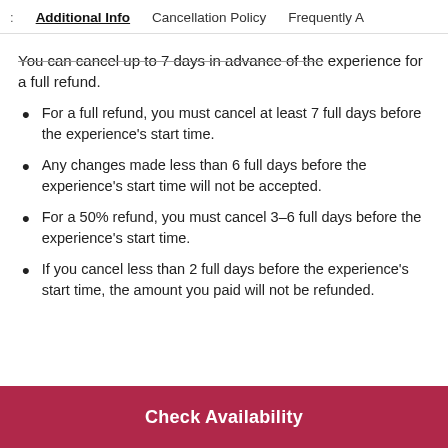Additional Info | Cancellation Policy | Frequently A
You can cancel up to 7 days in advance of the experience for a full refund.
For a full refund, you must cancel at least 7 full days before the experience's start time.
Any changes made less than 6 full days before the experience's start time will not be accepted.
For a 50% refund, you must cancel 3–6 full days before the experience's start time.
If you cancel less than 2 full days before the experience's start time, the amount you paid will not be refunded.
Check Availability